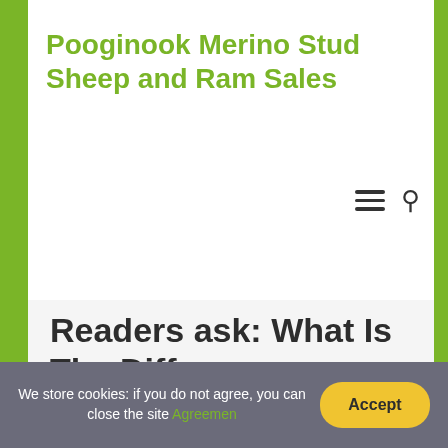Pooginook Merino Stud Sheep and Ram Sales
Readers ask: What Is The Difference Between A Lamb And A Sheep?
We store cookies: if you do not agree, you can close the site Agreemen